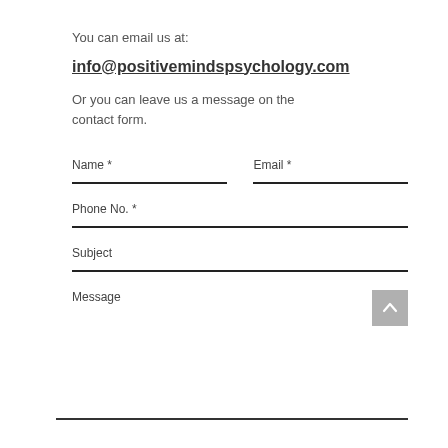You can email us at:
info@positivemindspsychology.com
Or you can leave us a message on the contact form.
Name *
Email *
Phone No. *
Subject
Message